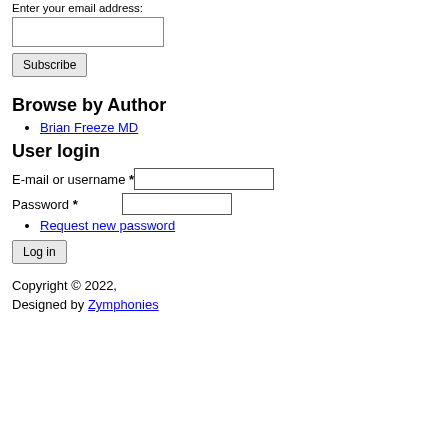Enter your email address:
[email input field]
Subscribe [button]
Browse by Author
Brian Freeze MD
User login
E-mail or username * [input]
Password * [input]
Request new password
Log in [button]
Copyright © 2022,
Designed by Zymphonies